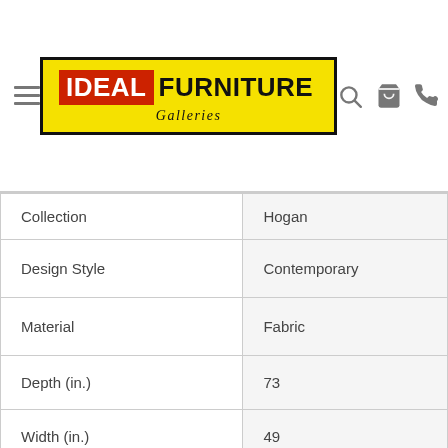Ideal Furniture Galleries — navigation header with logo, search, cart, and phone icons
| Attribute | Value |
| --- | --- |
| Collection | Hogan |
| Design Style | Contemporary |
| Material | Fabric |
| Depth (in.) | 73 |
| Width (in.) | 49 |
| Color Finish Name | Mocha |
| Color | Dark Brown |